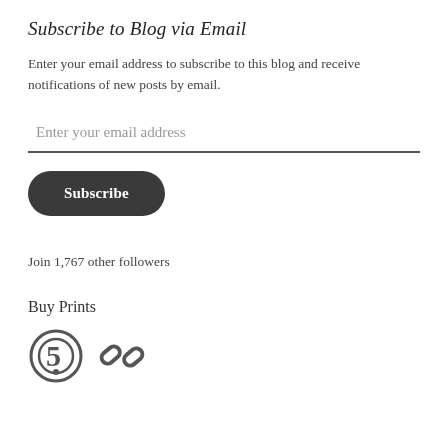Subscribe to Blog via Email
Enter your email address to subscribe to this blog and receive notifications of new posts by email.
Enter your email address
Subscribe
Join 1,767 other followers
Buy Prints
[Figure (logo): Two social media / print shop icons: a stylized '5' with circle (500px/Flickr style) and a chain link icon]